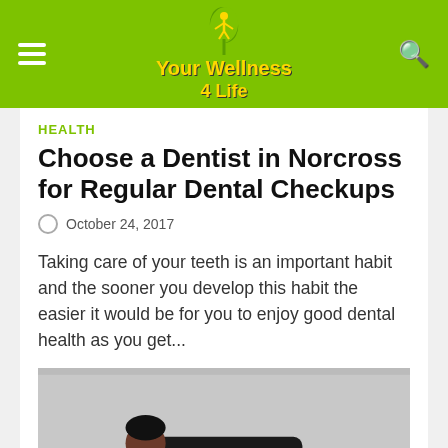Your Wellness 4 Life
HEALTH
Choose a Dentist in Norcross for Regular Dental Checkups
October 24, 2017
Taking care of your teeth is an important habit and the sooner you develop this habit the easier it would be for you to enjoy good dental health as you get...
[Figure (photo): A man in a black tank top performing a plank exercise on the floor, with earphones in, looking down.]